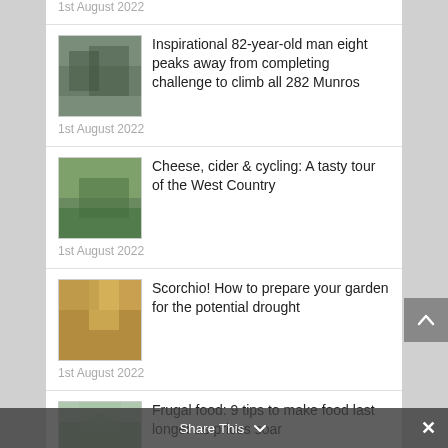1st August 2022
Inspirational 82-year-old man eight peaks away from completing challenge to climb all 282 Munros
1st August 2022
Cheese, cider & cycling: A tasty tour of the West Country
1st August 2022
Scorchio! How to prepare your garden for the potential drought
1st August 2022
Frugal food: 9 tips to make food last longer as prices soar
1st August 2022
Rubbish gardens: How to create a sustainable garden out of old junk and rich planting
Share This